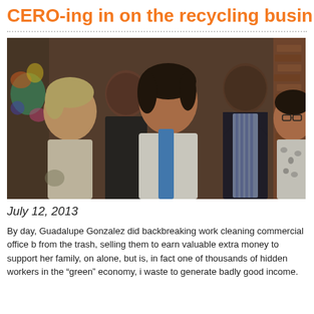CERO-ing in on the recycling busin
[Figure (photo): Group photo of five people — four adults smiling at the camera in what appears to be an indoor venue with brick walls. From left: a woman with short blonde hair wearing a sleeveless top, a man in a black shirt behind her, a woman with dark wavy hair wearing a white blouse with a blue scarf, a tall man in a dark suit with a striped shirt, and a woman in a floral top with glasses. Colorful artwork visible on the wall in background.]
July 12, 2013
By day, Guadalupe Gonzalez did backbreaking work cleaning commercial office b from the trash, selling them to earn valuable extra money to support her family, on alone, but is, in fact one of thousands of hidden workers in the “green” economy, i waste to generate badly good income.